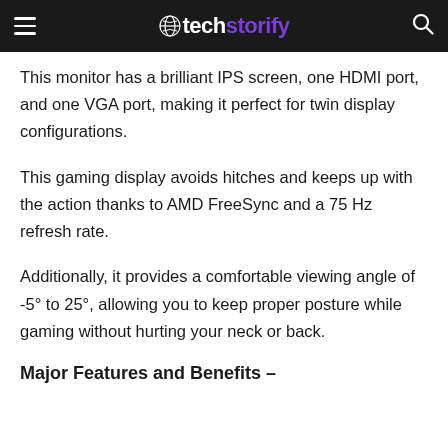techstorify
This monitor has a brilliant IPS screen, one HDMI port, and one VGA port, making it perfect for twin display configurations.
This gaming display avoids hitches and keeps up with the action thanks to AMD FreeSync and a 75 Hz refresh rate.
Additionally, it provides a comfortable viewing angle of -5° to 25°, allowing you to keep proper posture while gaming without hurting your neck or back.
Major Features and Benefits –